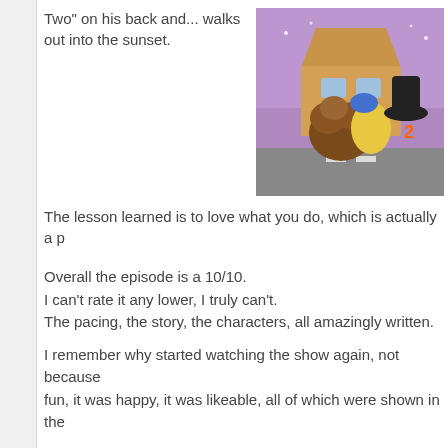Two" on his back and... walks out into the sunset.
[Figure (illustration): Animated cartoon scene showing colorful pony characters in a fantasy setting with purple sky and buildings in the background.]
The lesson learned is to love what you do, which is actually a p
Overall the episode is a 10/10.
I can't rate it any lower, I truly can't.
The pacing, the story, the characters, all amazingly written.
I remember why started watching the show again, not because fun, it was happy, it was likeable, all of which were shown in the
Basically, you could have placed that episode in Season 1 or 2
Weird Al, you're just what this show needed. Thanks.